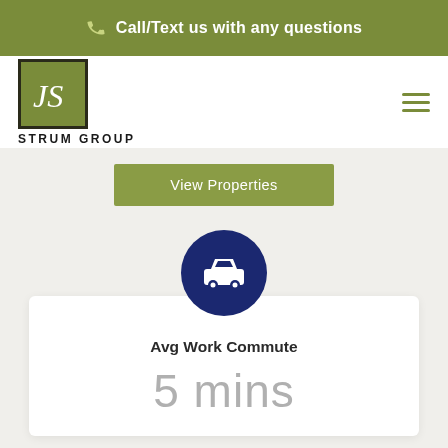Call/Text us with any questions
[Figure (logo): JS Strum Group logo — olive green square with JS script lettering in white, black border, STRUM GROUP text below]
View Properties
[Figure (infographic): Navy blue circle with white car/automobile icon, representing transportation/commute]
Avg Work Commute
5 mins